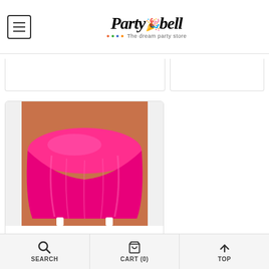Partybell - The dream party store
[Figure (photo): Hot pink round plastic tablecloth draped over a round table with white legs on a wooden floor]
Candy Pink (Hot Pink) Round Plastic Tablecover 82"
$4.39  $8.83
Name: Pack of 1
SEARCH   CART (0)   TOP